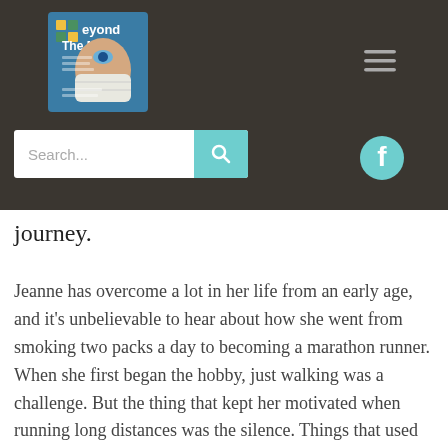[Figure (logo): Beyond The Mask podcast logo — grid icon with woman wearing surgical mask]
[Figure (infographic): Hamburger menu icon (three horizontal lines) in top right header area]
[Figure (infographic): Search bar with teal search button icon]
[Figure (infographic): Facebook circular icon in teal]
journey.
Jeanne has overcome a lot in her life from an early age, and it's unbelievable to hear about how she went from smoking two packs a day to becoming a marathon runner. When she first began the hobby, just walking was a challenge. But the thing that kept her motivated when running long distances was the silence. Things that used to torture her were gone and